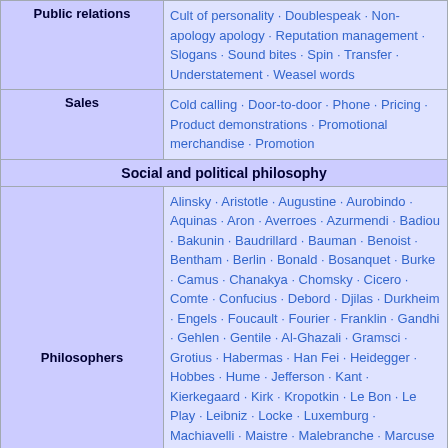| Public relations | Cult of personality · Doublespeak · Non-apology apology · Reputation management · Slogans · Sound bites · Spin · Transfer · Understatement · Weasel words |
| Sales | Cold calling · Door-to-door · Phone · Pricing · Product demonstrations · Promotional merchandise · Promotion |
| Social and political philosophy |  |
| Philosophers | Alinsky · Aristotle · Augustine · Aurobindo · Aquinas · Aron · Averroes · Azurmendi · Badiou · Bakunin · Baudrillard · Bauman · Benoist · Bentham · Berlin · Bonald · Bosanquet · Burke · Camus · Chanakya · Chomsky · Cicero · Comte · Confucius · Debord · Djilas · Durkheim · Engels · Foucault · Fourier · Franklin · Gandhi · Gehlen · Gentile · Al-Ghazali · Gramsci · Grotius · Habermas · Han Fei · Heidegger · Hobbes · Hume · Jefferson · Kant · Kierkegaard · Kirk · Kropotkin · Le Bon · Le Play · Leibniz · Locke · Luxemburg · Machiavelli · Maistre · Malebranche · Marcuse · Maritain · Marsilius · Marx · Mencius · Michels · Mill · Mises · Montesquieu · Möser · Mozi · Muhammad · Negri · Nietzsche · Nozick · Oakeshott |